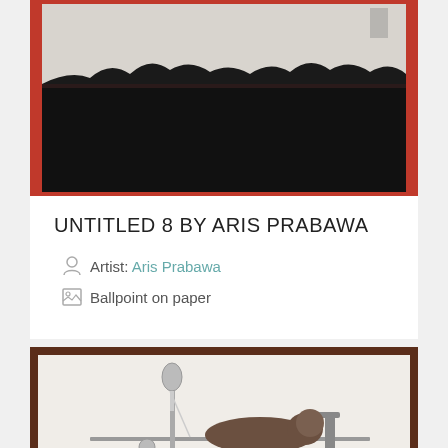[Figure (photo): Artwork photo of 'Untitled 8' by Aris Prabawa — a dark landscape painting with red border/frame, showing a treeline silhouette against a pale sky, displayed against a wall.]
UNTITLED 8 BY ARIS PRABAWA
Artist: Aris Prabawa
Ballpoint on paper
[Figure (photo): Artwork photo — a ballpoint on paper drawing showing a figure (possibly animal) lying on a hospital/medical bed with an IV drip stand, and a fox or dog standing beside the bed, rendered in detailed ballpoint pen style.]